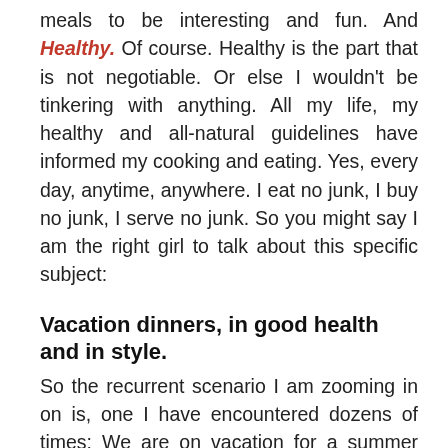meals to be interesting and fun. And Healthy. Of course. Healthy is the part that is not negotiable. Or else I wouldn't be tinkering with anything. All my life, my healthy and all-natural guidelines have informed my cooking and eating. Yes, every day, anytime, anywhere. I eat no junk, I buy no junk, I serve no junk. So you might say I am the right girl to talk about this specific subject:
Vacation dinners, in good health and in style.
So the recurrent scenario I am zooming in on is, one I have encountered dozens of times: We are on vacation for a summer week. We have a small room or apartment, in the Berkshires, or